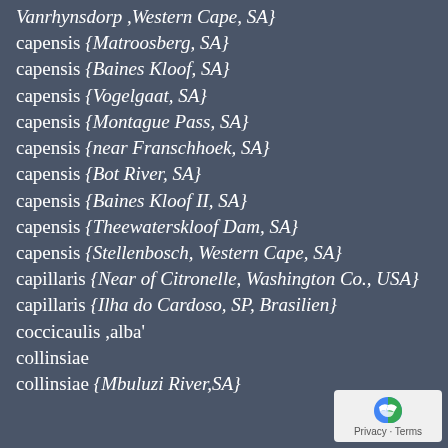Vanrhynsdorp ,Western Cape, SA}
capensis {Matroosberg, SA}
capensis {Baines Kloof, SA}
capensis {Vogelgaat, SA}
capensis {Montague Pass, SA}
capensis {near Franschhoek, SA}
capensis {Bot River, SA}
capensis {Baines Kloof II, SA}
capensis {Theewaterskloof Dam, SA}
capensis {Stellenbosch, Western Cape, SA}
capillaris {Near of Citronelle, Washington Co., USA}
capillaris {Ilha do Cardoso, SP, Brasilien}
coccicaulis ,alba'
collinsiae
collinsiae {Mbuluzi River,SA}